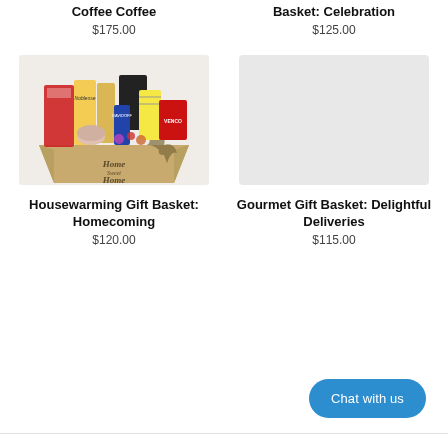Coffee Coffee
$175.00
Basket: Celebration
$125.00
[Figure (photo): Housewarming gift basket labeled 'Home Sweet Home' filled with assorted snacks and treats including Noblesse, Davidoff, Venco and other branded products]
[Figure (photo): Gray placeholder image for Gourmet Gift Basket: Delightful Deliveries]
Housewarming Gift Basket: Homecoming
$120.00
Gourmet Gift Basket: Delightful Deliveries
$115.00
Chat with us